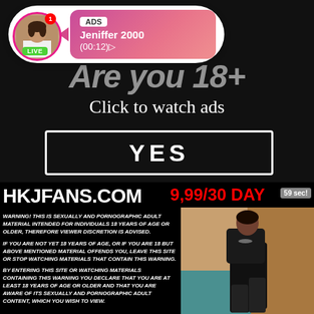[Figure (screenshot): Social media live notification bubble showing avatar with LIVE badge, ADS label, name Jeniffer 2000, time (00:12)]
Are you 18+
Click to watch ads
YES
HKJFANS.COM
9,99/30 DAYS!! 59 sec!
WARNING! THIS IS SEXUALLY AND PORNOGRAPHIC ADULT MATERIAL INTENDED FOR INDIVIDUALS 18 YEARS OF AGE OR OLDER, THEREFORE VIEWER DISCRETION IS ADVISED.
IF YOU ARE NOT YET 18 YEARS OF AGE, OR IF YOU ARE 18 BUT ABOVE MENTIONED MATERIAL OFFENDS YOU, LEAVE THIS SITE OR STOP WATCHING MATERIALS THAT CONTAIN THIS WARNING.
BY ENTERING THIS SITE OR WATCHING MATERIALS CONTAINING THIS WARNING YOU DECLARE THAT YOU ARE AT LEAST 18 YEARS OF AGE OR OLDER AND THAT YOU ARE AWARE OF ITS SEXUALLY AND PORNOGRAPHIC ADULT CONTENT, WHICH YOU WISH TO VIEW.
[Figure (photo): Woman in black outfit posing]